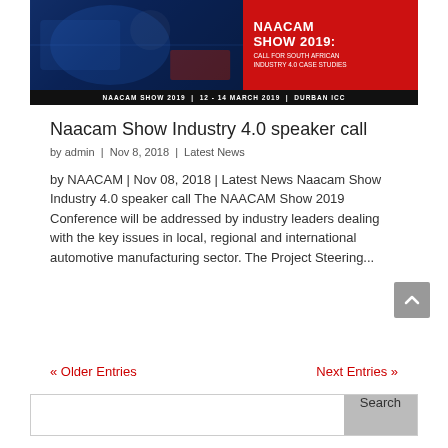[Figure (illustration): NAACAM Show 2019 promotional banner with blue automotive/tech image on left and red background on right reading 'NAACAM SHOW 2019: CALL FOR SOUTH AFRICAN INDUSTRY 4.0 CASE STUDIES'. Footer bar reads 'NAACAM SHOW 2019 | 12 - 14 MARCH 2019 | DURBAN ICC'.]
Naacam Show Industry 4.0 speaker call
by admin | Nov 8, 2018 | Latest News
by NAACAM | Nov 08, 2018 | Latest News Naacam Show Industry 4.0 speaker call The NAACAM Show 2019 Conference will be addressed by industry leaders dealing with the key issues in local, regional and international automotive manufacturing sector. The Project Steering...
« Older Entries
Next Entries »